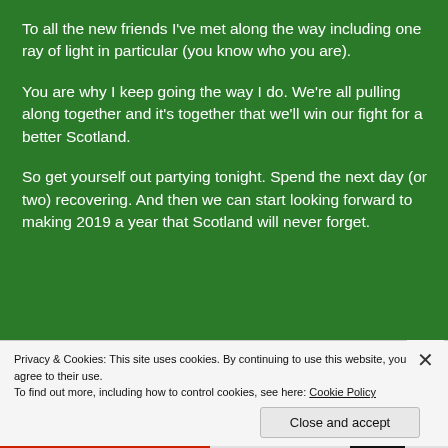To all the new friends I've met along the way including one ray of light in particular (you know who you are).
You are why I keep going the way I do. We're all pulling along together and it's together that we'll win our fight for a better Scotland.
So get yourself out partying tonight. Spend the next day (or two) recovering. And then we can start looking forward to making 2019 a year that Scotland will never forget.
Privacy & Cookies: This site uses cookies. By continuing to use this website, you agree to their use.
To find out more, including how to control cookies, see here: Cookie Policy
Close and accept